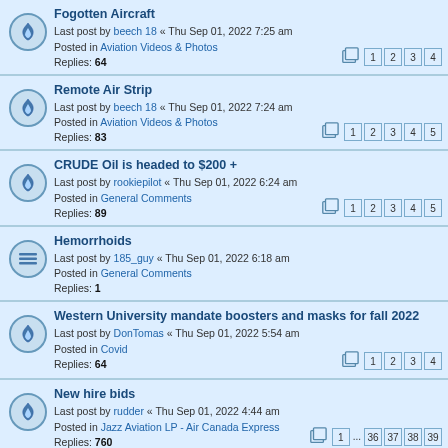Fogotten Aircraft
Last post by beech 18 « Thu Sep 01, 2022 7:25 am
Posted in Aviation Videos & Photos
Replies: 64
Pages: 1 2 3 4
Remote Air Strip
Last post by beech 18 « Thu Sep 01, 2022 7:24 am
Posted in Aviation Videos & Photos
Replies: 83
Pages: 1 2 3 4 5
CRUDE Oil is headed to $200 +
Last post by rookiepilot « Thu Sep 01, 2022 6:24 am
Posted in General Comments
Replies: 89
Pages: 1 2 3 4 5
Hemorrhoids
Last post by 185_guy « Thu Sep 01, 2022 6:18 am
Posted in General Comments
Replies: 1
Western University mandate boosters and masks for fall 2022
Last post by DonTomas « Thu Sep 01, 2022 5:54 am
Posted in Covid
Replies: 64
Pages: 1 2 3 4
New hire bids
Last post by rudder « Thu Sep 01, 2022 4:44 am
Posted in Jazz Aviation LP - Air Canada Express
Replies: 760
Pages: 1 ... 36 37 38 39
Air Force pilot charged after submitting...